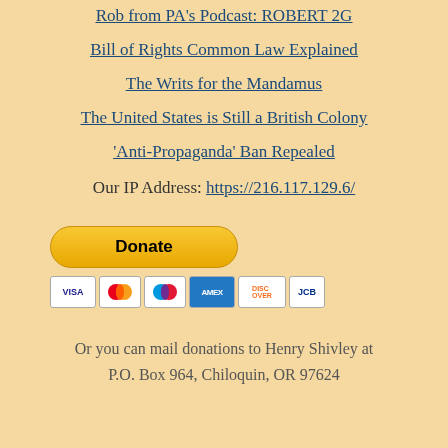Rob from PA's Podcast: ROBERT 2G
Bill of Rights Common Law Explained
The Writs for the Mandamus
The United States is Still a British Colony
'Anti-Propaganda' Ban Repealed
Our IP Address: https://216.117.129.6/
[Figure (other): PayPal Donate button with credit card icons (Visa, Mastercard, Maestro, American Express, Discover, JCB)]
Or you can mail donations to Henry Shivley at P.O. Box 964, Chiloquin, OR 97624